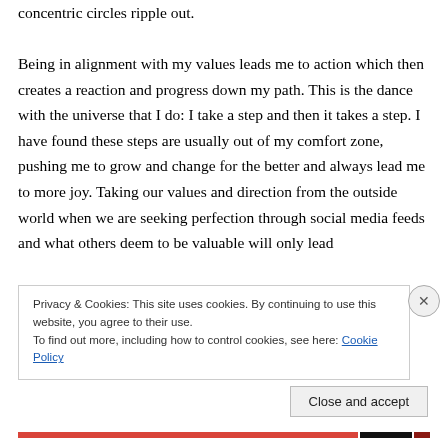concentric circles ripple out.

Being in alignment with my values leads me to action which then creates a reaction and progress down my path. This is the dance with the universe that I do: I take a step and then it takes a step. I have found these steps are usually out of my comfort zone, pushing me to grow and change for the better and always lead me to more joy. Taking our values and direction from the outside world when we are seeking perfection through social media feeds and what others deem to be valuable will only lead
Privacy & Cookies: This site uses cookies. By continuing to use this website, you agree to their use.
To find out more, including how to control cookies, see here: Cookie Policy
Close and accept